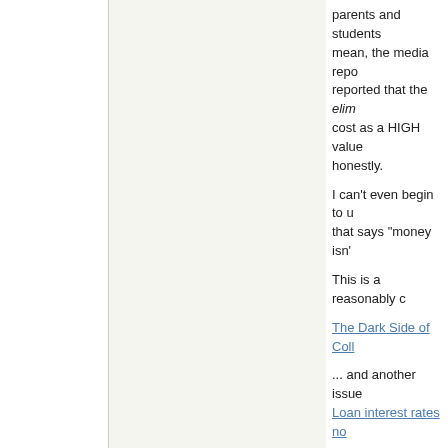parents and students mean, the media reported that the elim cost as a HIGH value honestly.
I can't even begin to u that says "money isn't
This is a reasonably c
The Dark Side of Coll
... and another issue
Loan interest rates no
Edited by HowlerKarma (0
Schrödinger's cat wal
Top
Re: Ivy League Admissions.
intparent
Member
Registered:
I tend to stick to the pare Ivy forums altogether. I also gotten some good i program forum, and the